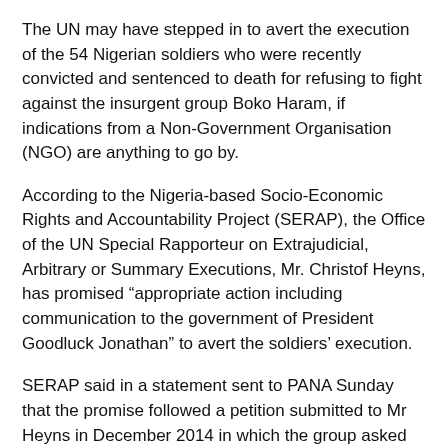The UN may have stepped in to avert the execution of the 54 Nigerian soldiers who were recently convicted and sentenced to death for refusing to fight against the insurgent group Boko Haram, if indications from a Non-Government Organisation (NGO) are anything to go by.
According to the Nigeria-based Socio-Economic Rights and Accountability Project (SERAP), the Office of the UN Special Rapporteur on Extrajudicial, Arbitrary or Summary Executions, Mr. Christof Heyns, has promised “appropriate action including communication to the government of President Goodluck Jonathan” to avert the soldiers’ execution.
SERAP said in a statement sent to PANA Sunday that the promise followed a petition submitted to Mr Heyns in December 2014 in which the group asked five UN human rights independent experts to individually and jointly use their “good offices and positions to urgently request the Nigerian government and its military authorities not to carry out the mass death sentences imposed on 54 Nigerian soldiers for what they were convicted, though disputed by some, to have